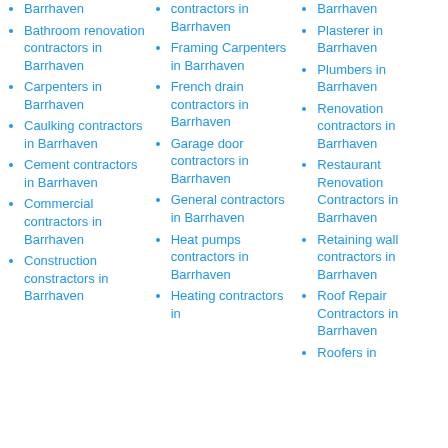Barrhaven
Bathroom renovation contractors in Barrhaven
Carpenters in Barrhaven
Caulking contractors in Barrhaven
Cement contractors in Barrhaven
Commercial contractors in Barrhaven
Construction constractors in Barrhaven
contractors in Barrhaven
Framing Carpenters in Barrhaven
French drain contractors in Barrhaven
Garage door contractors in Barrhaven
General contractors in Barrhaven
Heat pumps contractors in Barrhaven
Heating contractors in
Barrhaven
Plasterer in Barrhaven
Plumbers in Barrhaven
Renovation contractors in Barrhaven
Restaurant Renovation Contractors in Barrhaven
Retaining wall contractors in Barrhaven
Roof Repair Contractors in Barrhaven
Roofers in